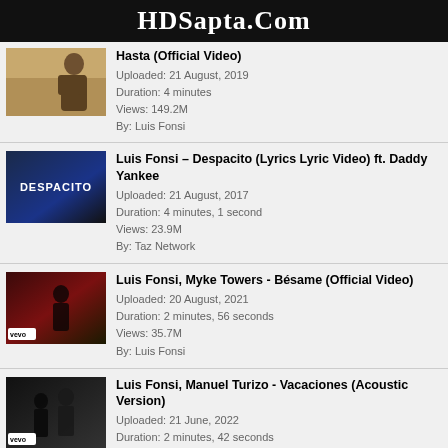HDSapta.Com
Hasta (Official Video)
Uploaded: 21 August, 2019
Duration: 4 minutes
Views: 149.2M
By: Luis Fonsi
Luis Fonsi – Despacito (Lyrics Lyric Video) ft. Daddy Yankee
Uploaded: 21 August, 2017
Duration: 4 minutes, 1 second
Views: 23.9M
By: Taz Network
Luis Fonsi, Myke Towers - Bésame (Official Video)
Uploaded: 20 August, 2021
Duration: 2 minutes, 56 seconds
Views: 35.7M
By: Luis Fonsi
Luis Fonsi, Manuel Turizo - Vacaciones (Acoustic Version)
Uploaded: 21 June, 2022
Duration: 2 minutes, 42 seconds
Views: 2.5M
By: Luis Fonsi
Luis Fonsi, Juan Luis Guerra - Llegaste Tú